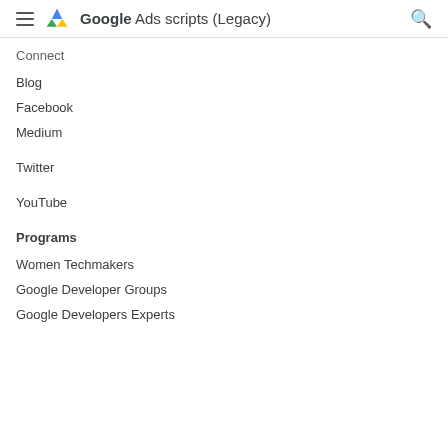Google Ads scripts (Legacy)
Connect
Blog
Facebook
Medium
Twitter
YouTube
Programs
Women Techmakers
Google Developer Groups
Google Developers Experts